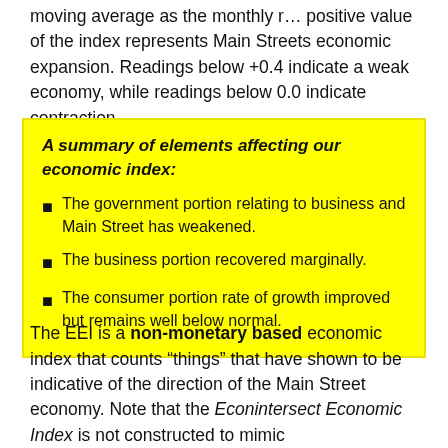moving average as the monthly r... positive value of the index represents Main Streets economic expansion. Readings below +0.4 indicate a weak economy, while readings below 0.0 indicate contraction.
A summary of elements affecting our economic index:
The government portion relating to business and Main Street has weakened.
The business portion recovered marginally.
The consumer portion rate of growth improved but remains well below normal.
The EEI is a non-monetary based economic index that counts “things” that have shown to be indicative of the direction of the Main Street economy. Note that the Econintersect Economic Index is not constructed to mimic